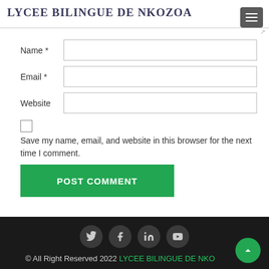LYCEE BILINGUE DE NKOZOA
Name *
Email *
Website
Save my name, email, and website in this browser for the next time I comment.
POST COMMENT
© All Right Reserved 2022 LYCEE BILINGUE DE NKO